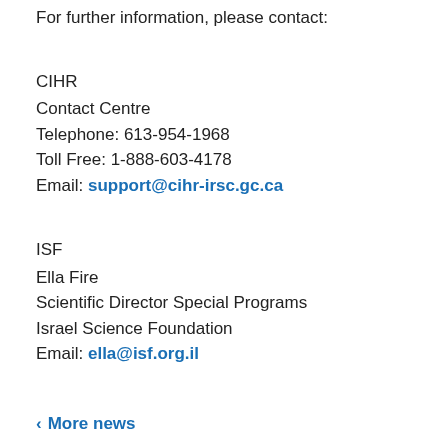For further information, please contact:
CIHR
Contact Centre
Telephone: 613-954-1968
Toll Free: 1-888-603-4178
Email: support@cihr-irsc.gc.ca
ISF
Ella Fire
Scientific Director Special Programs
Israel Science Foundation
Email: ella@isf.org.il
< More news